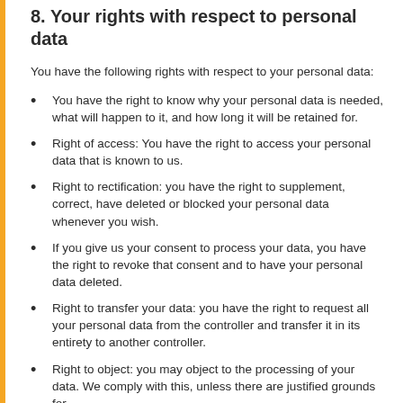8. Your rights with respect to personal data
You have the following rights with respect to your personal data:
You have the right to know why your personal data is needed, what will happen to it, and how long it will be retained for.
Right of access: You have the right to access your personal data that is known to us.
Right to rectification: you have the right to supplement, correct, have deleted or blocked your personal data whenever you wish.
If you give us your consent to process your data, you have the right to revoke that consent and to have your personal data deleted.
Right to transfer your data: you have the right to request all your personal data from the controller and transfer it in its entirety to another controller.
Right to object: you may object to the processing of your data. We comply with this, unless there are justified grounds for